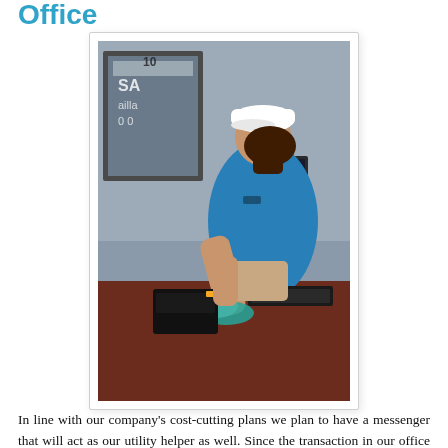Office
[Figure (photo): A woman in a blue polo shirt and white cap wearing white gloves, cleaning a desk surface with a teal cloth. A telephone/fax machine and computer keyboard are visible on the desk. A framed picture hangs on the wall behind her.]
In line with our company's cost-cutting plans we plan to have a messenger that will act as our utility helper as well. Since the transaction in our office is very minimal messenger would find himself entertaining most of the day without tasks to finish.